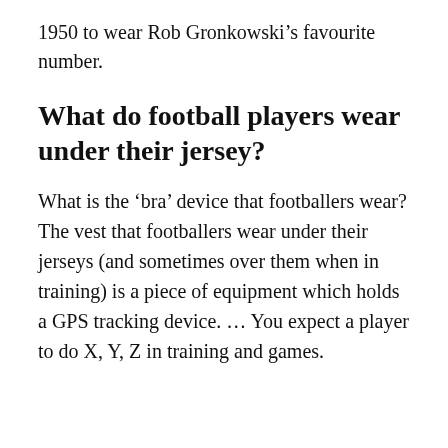1950 to wear Rob Gronkowski's favourite number.
What do football players wear under their jersey?
What is the ‘bra’ device that footballers wear? The vest that footballers wear under their jerseys (and sometimes over them when in training) is a piece of equipment which holds a GPS tracking device. … You expect a player to do X, Y, Z in training and games.